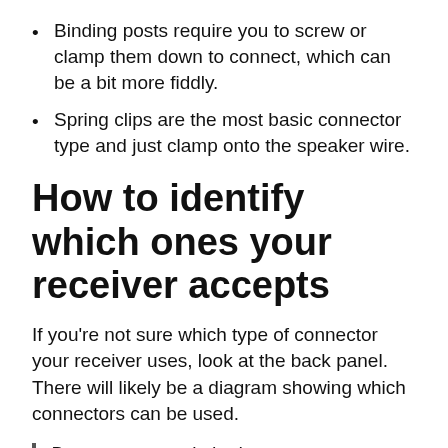Binding posts require you to screw or clamp them down to connect, which can be a bit more fiddly.
Spring clips are the most basic connector type and just clamp onto the speaker wire.
How to identify which ones your receiver accepts
If you’re not sure which type of connector your receiver uses, look at the back panel. There will likely be a diagram showing which connectors can be used.
But to get started, the best way to